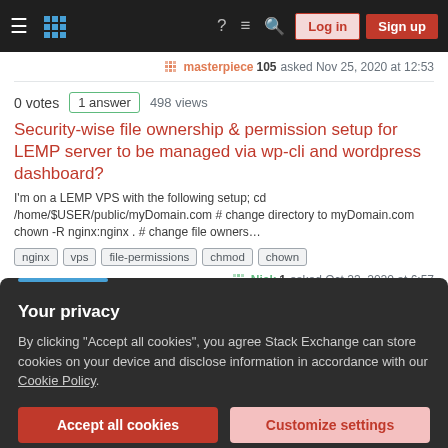Stack Exchange navigation bar with hamburger menu, logo, help, chat, search icons, Log in and Sign up buttons
masterpiece 105 asked Nov 25, 2020 at 12:53
0 votes  1 answer  498 views
Security-wise file ownership & permission setup for LEMP server to be managed via wp-cli and wordpress dashboard?
I'm on a LEMP VPS with the following setup; cd /home/$USER/public/myDomain.com # change directory to myDomain.com chown -R nginx:nginx . # change file owners…
nginx
vps
file-permissions
chmod
chown
Nick 1 asked Oct 23, 2020 at 6:57
Your privacy
By clicking "Accept all cookies", you agree Stack Exchange can store cookies on your device and disclose information in accordance with our Cookie Policy.
Accept all cookies  Customize settings
Manuel 21 asked May 11, 2020 at 13:57